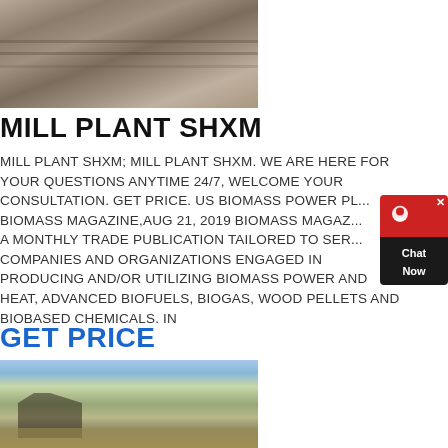[Figure (photo): Aerial or ground-level view of a dirt/rock surface, appears to be a quarry or mine site]
MILL PLANT SHXM
MILL PLANT SHXM; MILL PLANT SHXM. WE ARE HERE FOR YOUR QUESTIONS ANYTIME 24/7, WELCOME YOUR CONSULTATION. GET PRICE. US BIOMASS POWER PL... BIOMASS MAGAZINE,AUG 21, 2019 BIOMASS MAGAZ... A MONTHLY TRADE PUBLICATION TAILORED TO SER... COMPANIES AND ORGANIZATIONS ENGAGED IN PRODUCING AND/OR UTILIZING BIOMASS POWER AND HEAT, ADVANCED BIOFUELS, BIOGAS, WOOD PELLETS AND BIOBASED CHEMICALS. IN
[Figure (illustration): Chat widget overlay: red top section with headset/chat icon and X close button, dark bottom section with 'Chat Now' text]
GET PRICE
[Figure (photo): Industrial mill or crushing plant with conveyor belts and machinery, set against a blue sky with trees in background]